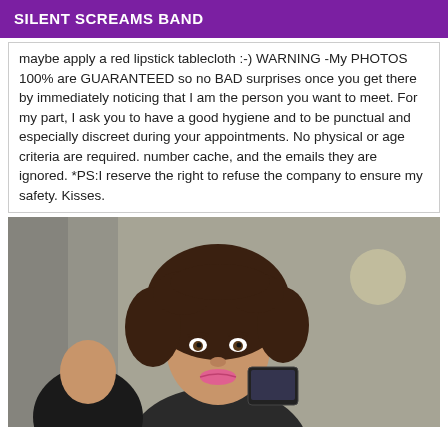SILENT SCREAMS BAND
maybe apply a red lipstick tablecloth :-) WARNING -My PHOTOS 100% are GUARANTEED so no BAD surprises once you get there by immediately noticing that I am the person you want to meet. For my part, I ask you to have a good hygiene and to be punctual and especially discreet during your appointments. No physical or age criteria are required. number cache, and the emails they are ignored. *PS:I reserve the right to refuse the company to ensure my safety. Kisses.
[Figure (photo): A woman with curly dark hair taking a mirror selfie with a smartphone, wearing a dark top, pink lipstick, in a bathroom setting.]